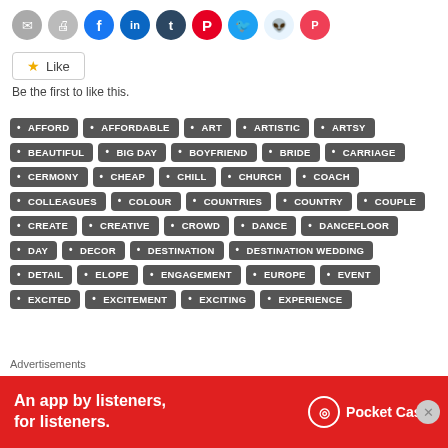[Figure (other): Row of social sharing icon buttons: email, print, Facebook, LinkedIn, Tumblr, Pinterest, Twitter, Reddit, Pocket]
Like
Be the first to like this.
AFFORD
AFFORDABLE
ART
ARTISTIC
ARTSY
BEAUTIFUL
BIG DAY
BOYFRIEND
BRIDE
CARRIAGE
CERMONY
CHEAP
CHILL
CHURCH
COACH
COLLEAGUES
COLOUR
COUNTRIES
COUNTRY
COUPLE
CREATE
CREATIVE
CROWD
DANCE
DANCEFLOOR
DAY
DECOR
DESTINATION
DESTINATION WEDDING
DETAIL
ELOPE
ENGAGEMENT
EUROPE
EVENT
EXCITED
EXCITEMENT
EXCITING
EXPERIENCE
Advertisements
[Figure (other): Pocket Casts advertisement banner: red background with text 'An app by listeners, for listeners.' and Pocket Casts logo]